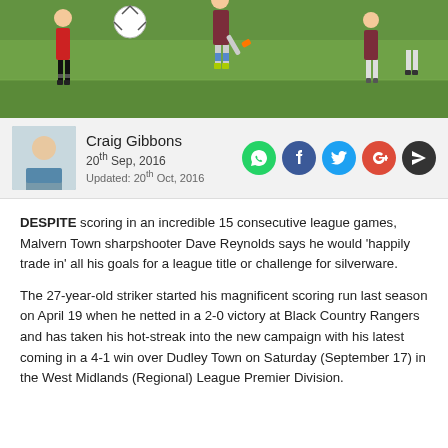[Figure (photo): Football match action photo showing players on a green pitch, one player kicking a ball]
Craig Gibbons
20th Sep, 2016
Updated: 20th Oct, 2016
[Figure (infographic): Social share icons: WhatsApp, Facebook, Twitter, Google+, Send]
DESPITE scoring in an incredible 15 consecutive league games, Malvern Town sharpshooter Dave Reynolds says he would 'happily trade in' all his goals for a league title or challenge for silverware.
The 27-year-old striker started his magnificent scoring run last season on April 19 when he netted in a 2-0 victory at Black Country Rangers and has taken his hot-streak into the new campaign with his latest coming in a 4-1 win over Dudley Town on Saturday (September 17) in the West Midlands (Regional) League Premier Division.